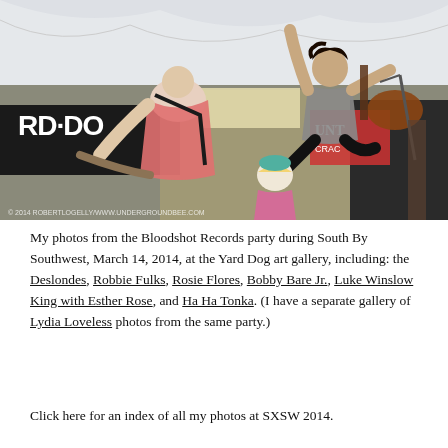[Figure (photo): Concert photo at an outdoor tent venue showing musicians performing. A guitarist in a pink shirt with a camera strap is seen from behind on the left. Another musician in a grey shirt is jumping in the air while playing an electric guitar on the right. A banner reading 'RD DOG' is visible in the background. Audience members are visible in the background. A watermark at the bottom reads copyright 2014 and www.undergroundbee.com.]
My photos from the Bloodshot Records party during South By Southwest, March 14, 2014, at the Yard Dog art gallery, including: the Deslondes, Robbie Fulks, Rosie Flores, Bobby Bare Jr., Luke Winslow King with Esther Rose, and Ha Ha Tonka. (I have a separate gallery of Lydia Loveless photos from the same party.)
Click here for an index of all my photos at SXSW 2014.